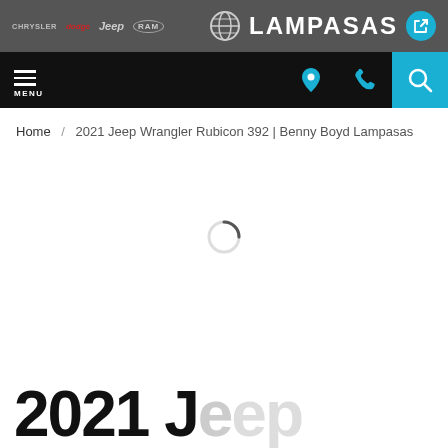Chrysler | Dodge | Jeep | Ram — LAMPASAS (dealer logo and share button)
MENU (navigation bar with location, phone, and search icons)
Home / 2021 Jeep Wrangler Rubicon 392 | Benny Boyd Lampasas
[Figure (other): Loading spinner circle icon in the center of the page content area]
2021 J...